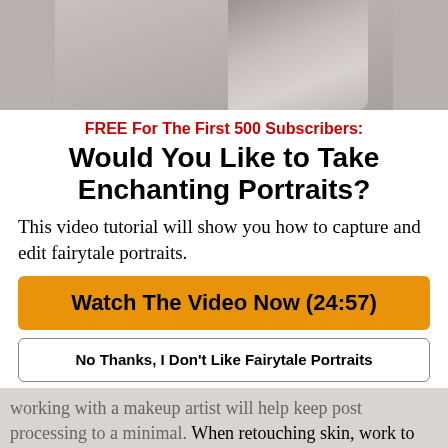[Figure (photo): Partial photo of a woman with dark hair, viewed from behind, wearing a light-colored top, against a light background]
FREE For The First 500 Subscribers:
Would You Like to Take Enchanting Portraits?
This video tutorial will show you how to capture and edit fairytale portraits.
Watch The Video Now (24:57)
No Thanks, I Don't Like Fairytale Portraits
working with a makeup artist will help keep post processing to a minimal. When retouching skin, work to remove flaws. This is without removing the entirety of the skin's texture.